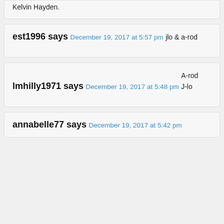Kelvin Hayden.
est1996 says
December 19, 2017 at 5:57 pm
jlo & a-rod
lmhilly1971 says
December 19, 2017 at 5:48 pm
A-rod
J-lo
annabelle77 says
December 19, 2017 at 5:42 pm